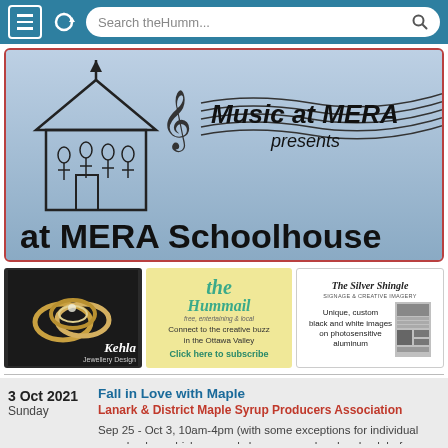[Figure (screenshot): Browser chrome bar with hamburger menu, refresh icon, and search field showing 'Search theHumm...']
[Figure (logo): Music at MERA Schoolhouse banner with illustrated schoolhouse, musical staff and clef, text 'Music at MERA presents' and 'at MERA Schoolhouse' on blue-grey background]
[Figure (photo): Kehla Jewellery Design ad showing gold rings on white background]
[Figure (logo): the Hummail ad: 'Connect to the creative buzz in the Ottawa Valley – Click here to subscribe']
[Figure (illustration): The Silver Shingle ad: 'Unique, custom black and white images on photosensitive aluminum']
3 Oct 2021
Sunday
Fall in Love with Maple
Lanark & District Maple Syrup Producers Association
Sep 25 - Oct 3, 10am-4pm (with some exceptions for individual sugarbushes which may only be open weekends--check before you go). Take a family-friendly trip to